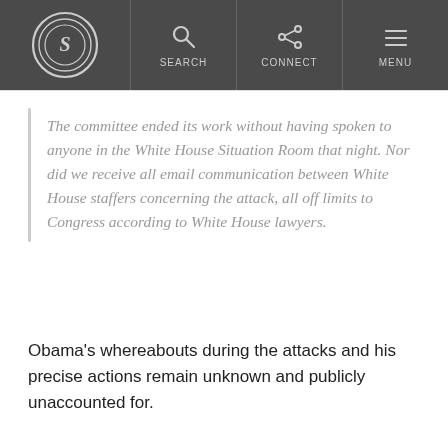SEARCH | CONNECT | MENU
The committee ended its work without having spoken to anyone in the White House Situation Room that night. Nor did we receive all email communication between White House staffers concerning the attack, all off limits to Congress according to White House lawyers.
Obama's whereabouts during the attacks and his precise actions remain unknown and publicly unaccounted for.